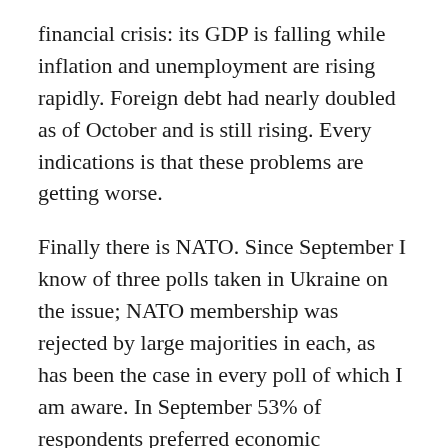financial crisis: its GDP is falling while inflation and unemployment are rising rapidly. Foreign debt had nearly doubled as of October and is still rising. Every indications is that these problems are getting worse.
Finally there is NATO. Since September I know of three polls taken in Ukraine on the issue; NATO membership was rejected by large majorities in each, as has been the case in every poll of which I am aware. In September 53% of respondents preferred economic integration with Russia and the CIS as against 40% who preferred relations with the EU. Nearly half agreed that NATO accession would be destabilising. Another poll that month showed that, in a referendum, 61% would vote against NATO membership and another poll two